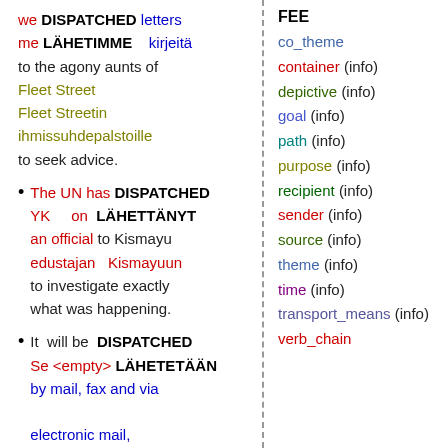we DISPATCHED letters me LÄHETIMME kirjeitä to the agony aunts of Fleet Street Fleet Streetin ihmissuhdepalstoille to seek advice.
The UN has DISPATCHED YK on LÄHETTÄNYT an official to Kismayu edustajan Kismayuun to investigate exactly what was happening.
It will be DISPATCHED Se <empty> LÄHETETÄÄN by mail, fax and via electronic mail, through networks such as the Association for
FEE
co_theme
container (info)
depictive (info)
goal (info)
path (info)
purpose (info)
recipient (info)
sender (info)
source (info)
theme (info)
time (info)
transport_means (info)
verb_chain